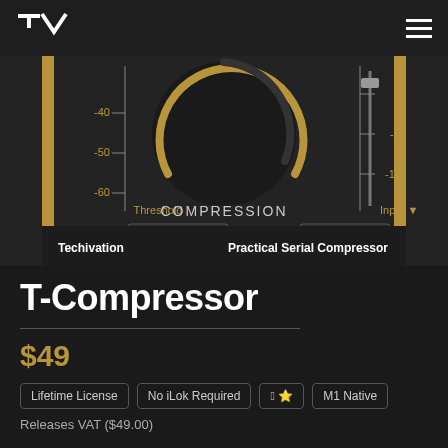T-Compressor — Techivation plugin page header with logo and hamburger menu
[Figure (screenshot): Audio plugin UI screenshot of Techivation Practical Serial Compressor showing Threshold knob with -40, -50, -60 scale markings, COMPRESSION label, large dial, Input slider with 0, -5, -10 markings, 50hz sc-hp and 100% mix controls]
T-Compressor
$49
Lifetime License
No iLok Required
🍎 Windows M1 Native
Releases VAT ($49.00)